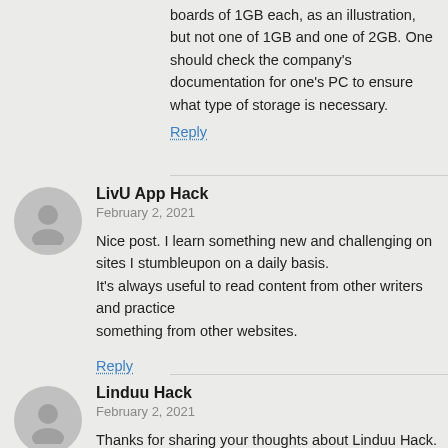boards of 1GB each, as an illustration, but not one of 1GB and one of 2GB. One should check the company's documentation for one's PC to ensure what type of storage is necessary.
Reply
LivU App Hack
February 2, 2021
Nice post. I learn something new and challenging on sites I stumbleupon on a daily basis.
It's always useful to read content from other writers and practice
something from other websites.
Reply
Linduu Hack
February 2, 2021
Thanks for sharing your thoughts about Linduu Hack.
Regards